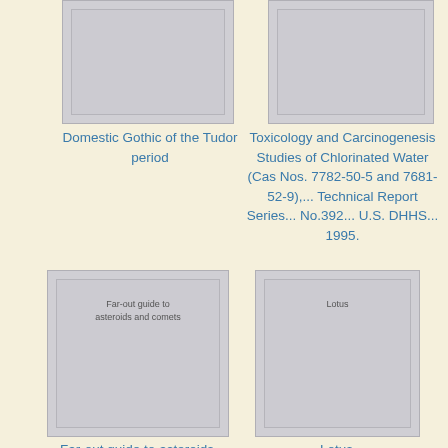[Figure (illustration): Book cover placeholder for 'Domestic Gothic of the Tudor period' - gray rectangle at top left]
[Figure (illustration): Book cover placeholder for 'Toxicology and Carcinogenesis Studies of Chlorinated Water' - gray rectangle at top right]
Domestic Gothic of the Tudor period
Toxicology and Carcinogenesis Studies of Chlorinated Water (Cas Nos. 7782-50-5 and 7681-52-9),... Technical Report Series... No.392... U.S. DHHS... 1995.
[Figure (illustration): Book cover placeholder for 'Far-out guide to asteroids and comets' - gray rectangle at bottom left with text inside]
[Figure (illustration): Book cover placeholder for 'Lotus' - gray rectangle at bottom right with text inside]
Far-out guide to asteroids and comets
Lotus